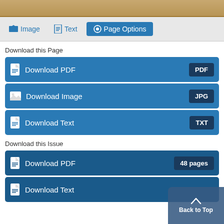[Figure (screenshot): Top image strip showing a tan/brown colored image partial view]
Image  Text  Page Options
Download this Page
Download PDF  PDF
Download Image  JPG
Download Text  TXT
Download this Issue
Download PDF  48 pages
Download Text
Back to Top